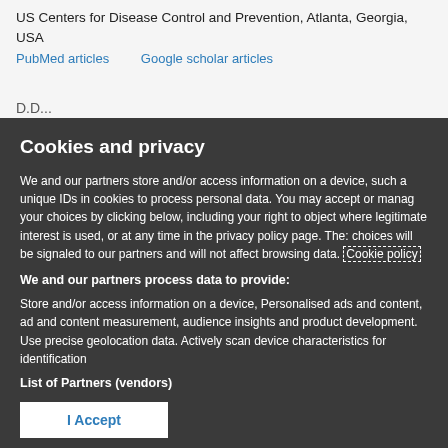US Centers for Disease Control and Prevention, Atlanta, Georgia, USA
PubMed articles    Google scholar articles
Cookies and privacy
We and our partners store and/or access information on a device, such a unique IDs in cookies to process personal data. You may accept or manage your choices by clicking below, including your right to object where legitimate interest is used, or at any time in the privacy policy page. These choices will be signaled to our partners and will not affect browsing data. Cookie policy
We and our partners process data to provide:
Store and/or access information on a device, Personalised ads and content, ad and content measurement, audience insights and product development. Use precise geolocation data. Actively scan device characteristics for identification
List of Partners (vendors)
I Accept